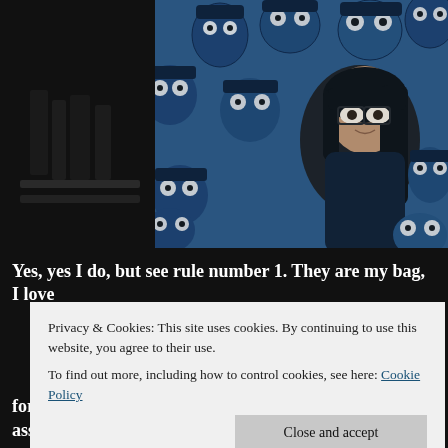[Figure (photo): A girl with dark hair and glasses stands in front of a blue illustrated background filled with wide-eyed cartoon faces. The overall tone is dark and eerie.]
Yes, yes I do, but see rule number 1. They are my bag, I love
Privacy & Cookies: This site uses cookies. By continuing to use this website, you agree to their use.
To find out more, including how to control cookies, see here: Cookie Policy
Close and accept
for TWO YEARS, before it was made. A whole assortment